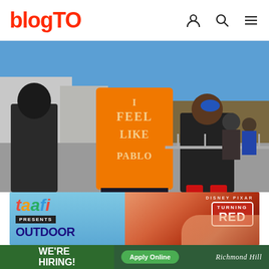blogTO
[Figure (photo): Person wearing an orange t-shirt that reads 'I FEEL LIKE PABLO' in white letters, standing on a street with people queuing behind metal barriers on a sunny day. Part of a Kanye West Pablo pop-up event in Toronto.]
[Figure (photo): Advertisement banner: taafi presents OUTDOOR event on the left side with blue sky background; Disney Pixar Turning Red movie promotional image on the right side showing a close-up of orange fur.]
[Figure (other): Bottom banner: Green 'WE'RE HIRING!' section on left; dark green right section with 'Apply Online' button and Richmond Hill logo]